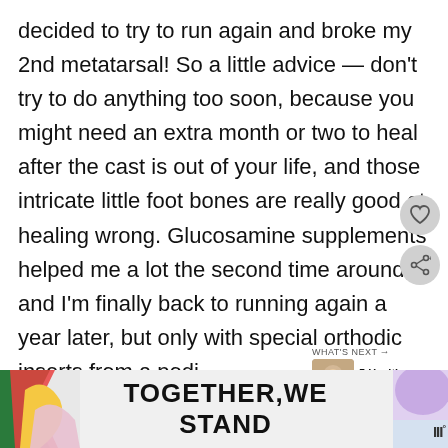decided to try to run again and broke my 2nd metatarsal! So a little advice — don't try to do anything too soon, because you might need an extra month or two to heal after the cast is out of your life, and those intricate little foot bones are really good at healing wrong. Glucosamine supplements helped me a lot the second time around, and I'm finally back to running again a year later, but only with special orthodic inserts from a podi... (which I recommend) — and I make sure to
[Figure (screenshot): UI heart/like button and share button on right side]
[Figure (infographic): What's Next panel showing a thumbnail image and caption '5 Health Changes I'm...']
[Figure (infographic): Advertisement banner reading TOGETHER WE STAND with colorful abstract shapes on left and right sides, close X button, and a logo on the right]